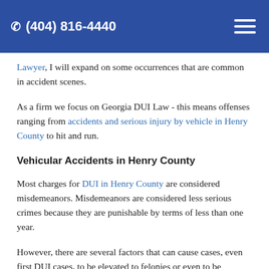(404) 816-4440
Lawyer, I will expand on some occurrences that are common in accident scenes.
As a firm we focus on Georgia DUI Law - this means offenses ranging from accidents and serious injury by vehicle in Henry County to hit and run.
Vehicular Accidents in Henry County
Most charges for DUI in Henry County are considered misdemeanors. Misdemeanors are considered less serious crimes because they are punishable by terms of less than one year.
However, there are several factors that can cause cases, even first DUI cases, to be elevated to felonies or even to be considered misdemeanors with more serious penalties. These factors include accidents causing injuries in automobiles, which